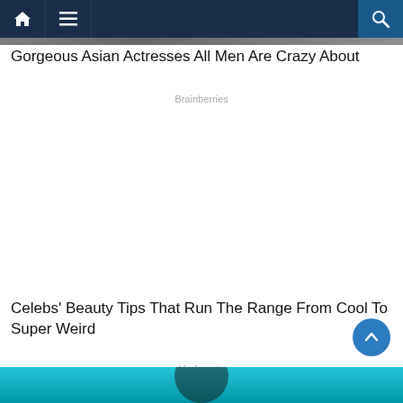Navigation bar with home, menu, and search icons
[Figure (photo): Partial view of a photo of Asian actresses at the top of the page]
Gorgeous Asian Actresses All Men Are Crazy About
Brainberries
Celebs' Beauty Tips That Run The Range From Cool To Super Weird
Herbeauty
[Figure (photo): Partial view of a photo with teal/turquoise background at the bottom, showing a person]